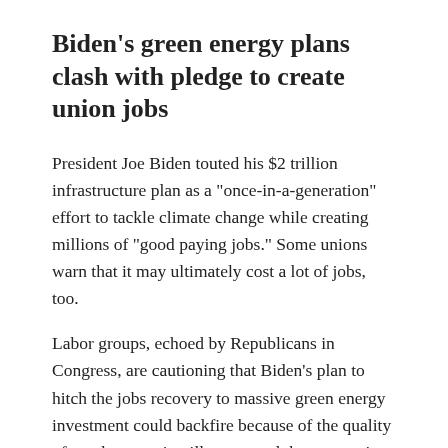Biden's green energy plans clash with pledge to create union jobs
President Joe Biden touted his $2 trillion infrastructure plan as a "once-in-a-generation" effort to tackle climate change while creating millions of "good paying jobs." Some unions warn that it may ultimately cost a lot of jobs, too.
Labor groups, echoed by Republicans in Congress, are cautioning that Biden's plan to hitch the jobs recovery to massive green energy investment could backfire because of the quality of employment it will create and the economic devastation it could cause on rural communities.
The president's push to decarbonize the economy will